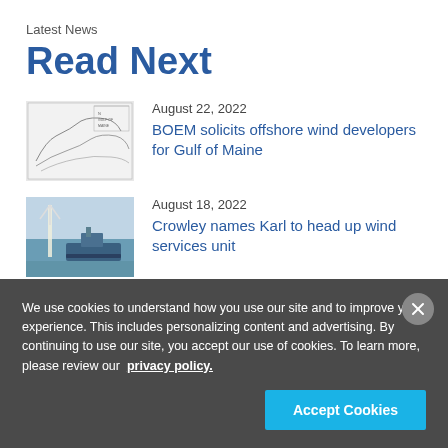Latest News
Read Next
[Figure (photo): Map image thumbnail for BOEM Gulf of Maine offshore wind article]
August 22, 2022
BOEM solicits offshore wind developers for Gulf of Maine
[Figure (photo): Photo of offshore wind service vessel thumbnail for Crowley article]
August 18, 2022
Crowley names Karl to head up wind services unit
We use cookies to understand how you use our site and to improve your experience. This includes personalizing content and advertising. By continuing to use our site, you accept our use of cookies. To learn more, please review our privacy policy.